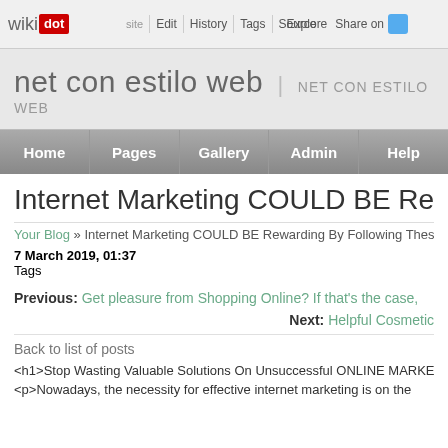wikidot | Edit | History | Tags | Source | Explore | Share on [Twitter]
net con estilo web | NET CON ESTILO WEB
Home | Pages | Gallery | Admin | Help
Internet Marketing COULD BE Rewarding By Following Thes...
Your Blog » Internet Marketing COULD BE Rewarding By Following Thes...
7 March 2019, 01:37
Tags
Previous: Get pleasure from Shopping Online? If that's the case,
Next: Helpful Cosmetic...
Back to list of posts
<h1>Stop Wasting Valuable Solutions On Unsuccessful ONLINE MARKE...
<p>Nowadays, the necessity for effective internet marketing is on the...